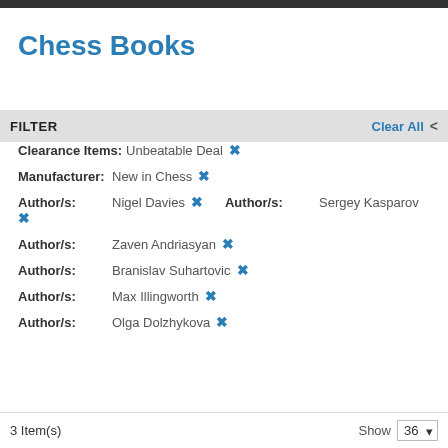Chess Books
FILTER
Clearance Items: Unbeatable Deal ×
Manufacturer: New in Chess ×
Author/s: Nigel Davies ×   Author/s: Sergey Kasparov ×
Author/s: Zaven Andriasyan ×
Author/s: Branislav Suhartovic ×
Author/s: Max Illingworth ×
Author/s: Olga Dolzhykova ×
3 Item(s)   Show 36 ▾